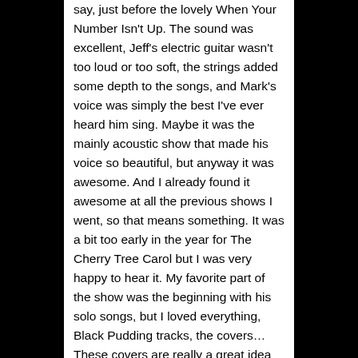say, just before the lovely When Your Number Isn't Up. The sound was excellent, Jeff's electric guitar wasn't too loud or too soft, the strings added some depth to the songs, and Mark's voice was simply the best I've ever heard him sing. Maybe it was the mainly acoustic show that made his voice so beautiful, but anyway it was awesome. And I already found it awesome at all the previous shows I went, so that means something. It was a bit too early in the year for The Cherry Tree Carol but I was very happy to hear it. My favorite part of the show was the beginning with his solo songs, but I loved everything, Black Pudding tracks, the covers… These covers are really a great idea because, even if the original ones are not songs I usually listen to, they allow Mark to have a happier part in his set. I don't really know how to explain